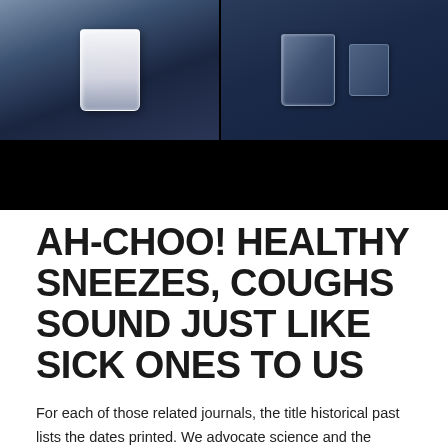[Figure (photo): Two photographs side by side showing glasses of liquid against a dark blue background, with a black bar below. Left image shows a white/milky glass of liquid; right image shows clear glasses. Black strip at the bottom of the photo area.]
AH-CHOO! HEALTHY SNEEZES, COUGHS SOUND JUST LIKE SICK ONES TO US
For each of those related journals, the title historical past lists the dates printed. We advocate science and the scientific community to help construct the European Research Area and shape the worldwide scientific agenda. While testing is ramping up to detect COVID-19, misleading information is circulating